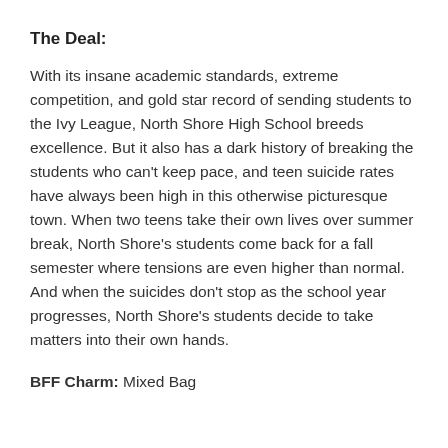The Deal:
With its insane academic standards, extreme competition, and gold star record of sending students to the Ivy League, North Shore High School breeds excellence. But it also has a dark history of breaking the students who can't keep pace, and teen suicide rates have always been high in this otherwise picturesque town. When two teens take their own lives over summer break, North Shore's students come back for a fall semester where tensions are even higher than normal. And when the suicides don't stop as the school year progresses, North Shore's students decide to take matters into their own hands.
BFF Charm: Mixed Bag